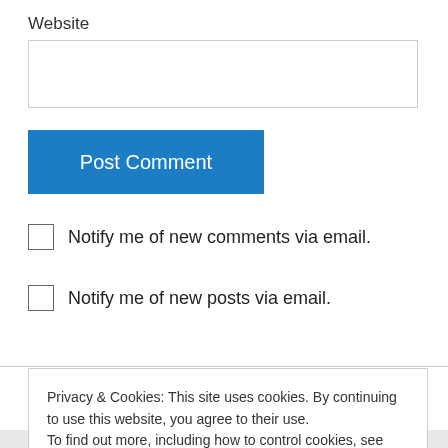Website
[Figure (screenshot): Website text input field (empty, bordered rectangle)]
[Figure (screenshot): Post Comment button (blue background, white text)]
Notify me of new comments via email.
Notify me of new posts via email.
valkyrie160 on July 17, 2012 at 9:13 pm
Privacy & Cookies: This site uses cookies. By continuing to use this website, you agree to their use.
To find out more, including how to control cookies, see here: Cookie Policy
Close and accept